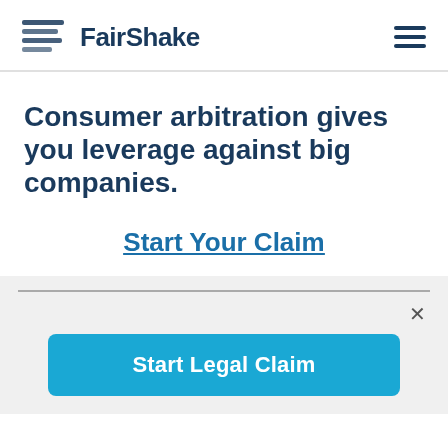FairShake
Consumer arbitration gives you leverage against big companies.
Start Your Claim
Start Legal Claim